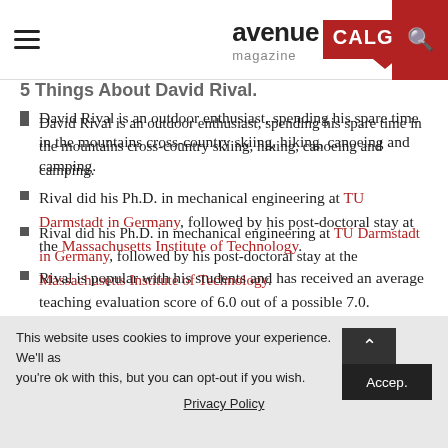avenue magazine CALGARY
5 Things About David Rival.
David Rival is an outdoor enthusiast, spending his spare time in the mountains cross-country skiing, hiking, canoeing and camping.
Rival did his Ph.D. in mechanical engineering at TU Darmstadt in Germany, followed by his post-doctoral stay at the Massachusetts Institute of Technology.
Rival is popular with his students and has received an average teaching evaluation score of 6.0 out of a possible 7.0.
This website uses cookies to improve your experience. We'll assume you're ok with this, but you can opt-out if you wish. Accept Privacy Policy